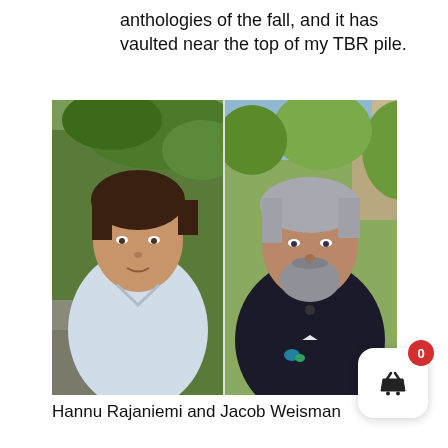anthologies of the fall, and it has vaulted near the top of my TBR pile.
[Figure (photo): Side-by-side photos of two authors: left photo shows a young man with dark hair wearing a light blue shirt, outdoors with greenery; right photo shows an older man with silver hair and a beard wearing a dark jacket, outdoors with trees in background.]
Hannu Rajaniemi and Jacob Weisman